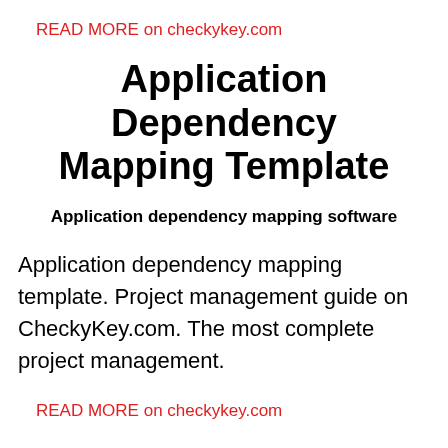READ MORE on checkykey.com
Application Dependency Mapping Template
Application dependency mapping software
Application dependency mapping template. Project management guide on CheckyKey.com. The most complete project management.
READ MORE on checkykey.com